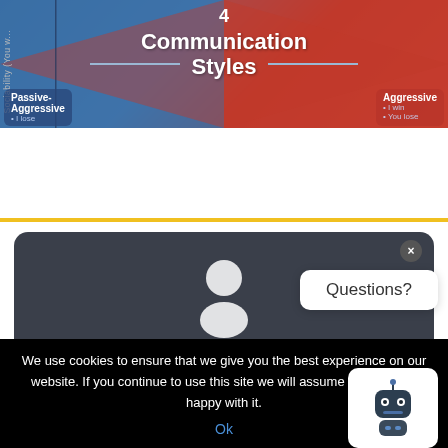[Figure (infographic): Partially visible infographic titled '4 Communication Styles' with overlapping colored quadrants (blue and red) showing labels like 'Passive-Aggressive', 'Aggressive', 'I win', 'You lose', and a vertical 'Sociability (You w...)' axis label.]
[Figure (screenshot): Dark rounded card section partially visible, showing a white person/user icon silhouette, with a close (x) button overlay. Appears to be a chat or profile widget.]
We use cookies to ensure that we give you the best experience on our website. If you continue to use this site we will assume that you are happy with it.
Ok
Questions?